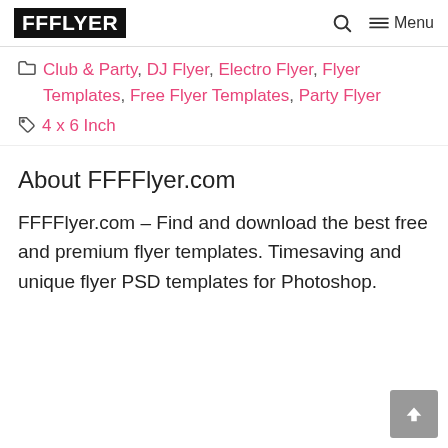FFFLYER | Menu
Categories: Club & Party, DJ Flyer, Electro Flyer, Flyer Templates, Free Flyer Templates, Party Flyer
Tags: 4 x 6 Inch
About FFFFlyer.com
FFFFlyer.com – Find and download the best free and premium flyer templates. Timesaving and unique flyer PSD templates for Photoshop.